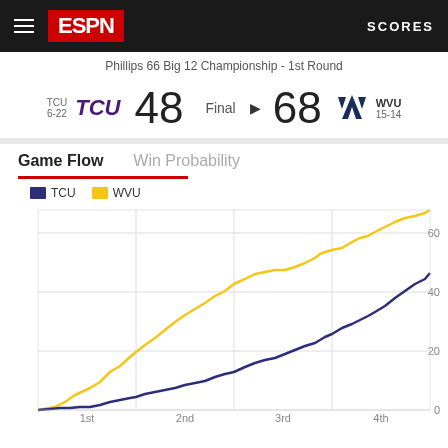[Figure (screenshot): ESPN app header with hamburger menu, ESPN logo, and SCORES label on dark background]
Phillips 66 Big 12 Championship - 1st Round
[Figure (infographic): Scoreboard showing TCU 48 vs WVU 68, Final, TCU record 6-22, WVU record 15-14]
Game Flow
Win Probability
[Figure (line-chart): Game Flow]